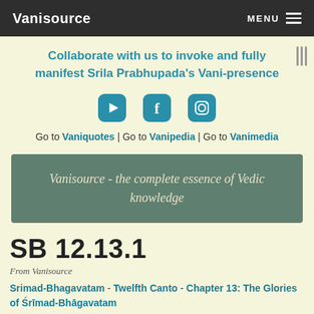Vanisource   MENU
Collaborate with us to invoke and fully manifest Srila Prabhupada's Vani-presence
[Figure (illustration): Three social media icons: YouTube, Facebook, Instagram in teal rounded square buttons]
Go to Vaniquotes | Go to Vanipedia | Go to Vanimedia
Vanisource - the complete essence of Vedic knowledge
SB 12.13.1
From Vanisource
Srimad-Bhagavatam - Twelfth Canto - Chapter 13: The Glories of Śrīmad-Bhāgavatam